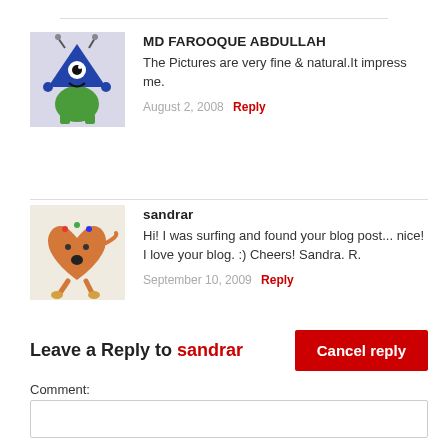MD FAROOQUE ABDULLAH
The Pictures are very fine & natural.It impress me.
August 2, 2008  Reply
sandrar
Hi! I was surfing and found your blog post... nice! I love your blog. :) Cheers! Sandra. R.
September 10, 2009  Reply
Leave a Reply to sandrar
Cancel reply
Comment: